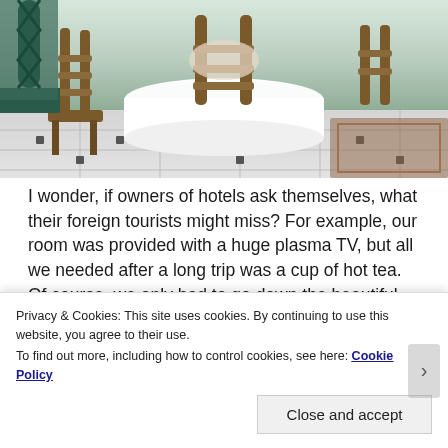[Figure (photo): Photo of a hotel dining room interior showing wooden chairs, a table with white tablecloth, marble floor with dark inlaid tiles, and light-colored walls.]
I wonder, if owners of hotels ask themselves, what their foreign tourists might miss? For example, our room was provided with a huge plasma TV, but all we needed after a long trip was a cup of hot tea. Of course, we only had to go down the beautiful marble spiral stairs and ask Gisella or Susanna for tea, but we did not want to disturb those lovely women while they were sitting and watching their favorite soap opera. We were the only guests in the hotel
Privacy & Cookies: This site uses cookies. By continuing to use this website, you agree to their use.
To find out more, including how to control cookies, see here: Cookie Policy